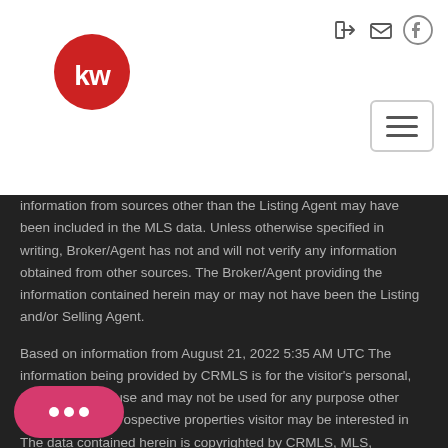[Figure (logo): Keller Williams red circle logo with white 'kw' text]
information from sources other than the Listing Agent may have been included in the MLS data. Unless otherwise specified in writing, Broker/Agent has not and will not verify any information obtained from other sources. The Broker/Agent providing the information contained herein may or may not have been the Listing and/or Selling Agent.
Based on information from August 21, 2022 5:35 AM UTC The information being provided by CRMLS is for the visitor's personal, noncommercial use and may not be used for any purpose other than to identify prospective properties visitor may be interested in The data contained herein is copyrighted by CRMLS, MLS, PSRMLS and/or VCRDS and is protected by all applicable copyright laws. Any dissemination of this